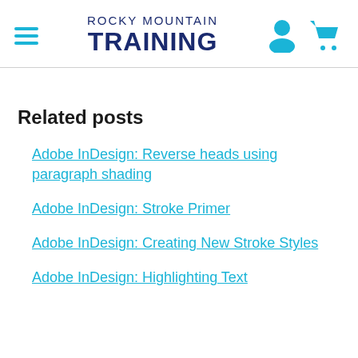ROCKY MOUNTAIN TRAINING
Related posts
Adobe InDesign: Reverse heads using paragraph shading
Adobe InDesign: Stroke Primer
Adobe InDesign: Creating New Stroke Styles
Adobe InDesign: Highlighting Text